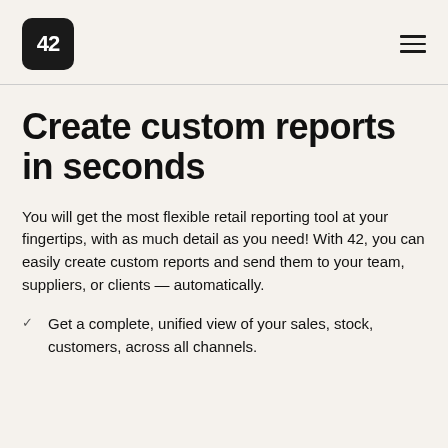42
Create custom reports in seconds
You will get the most flexible retail reporting tool at your fingertips, with as much detail as you need! With 42, you can easily create custom reports and send them to your team, suppliers, or clients — automatically.
Get a complete, unified view of your sales, stock, customers, across all channels.